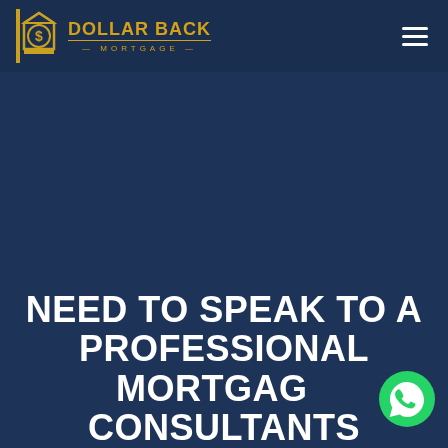[Figure (logo): Dollar Back Mortgage logo with golden building/dollar sign icon and text 'DOLLAR BACK MORTGAGE' in gold on dark navy background]
[Figure (other): Hamburger menu icon (three horizontal white lines) in top right corner]
NEED TO SPEAK TO A PROFESSIONAL MORTGAGE CONSULTANTS